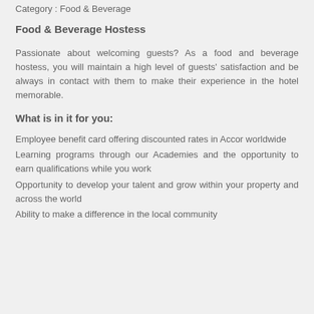Category : Food & Beverage
Food & Beverage Hostess
Passionate about welcoming guests? As a food and beverage hostess, you will maintain a high level of guests' satisfaction and be always in contact with them to make their experience in the hotel memorable.
What is in it for you:
Employee benefit card offering discounted rates in Accor worldwide
Learning programs through our Academies and the opportunity to earn qualifications while you work
Opportunity to develop your talent and grow within your property and across the world
Ability to make a difference in the local community